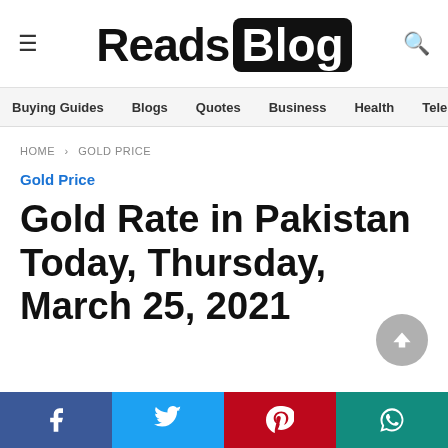Reads Blog
Buying Guides  Blogs  Quotes  Business  Health  Tele
HOME › GOLD PRICE
Gold Price
Gold Rate in Pakistan Today, Thursday, March 25, 2021
Facebook  Twitter  Pinterest  WhatsApp